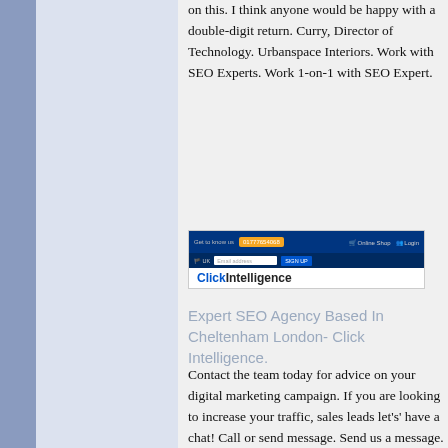on this. I think anyone would be happy with a double-digit return. Curry, Director of Technology. Urbanspace Interiors. Work with SEO Experts. Work 1-on-1 with SEO Expert.
[Figure (screenshot): Screenshot of ClickIntelligence website header with navigation bar, email signup, and logo]
Expert SEO Agency Based In Cheltenham London- Click Intelligence.
Contact the team today for advice on your digital marketing campaign. If you are looking to increase your traffic, sales leads let's' have a chat! Call or send message. Send us a message. T